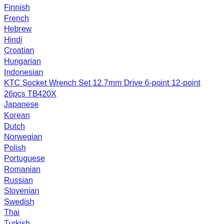Finnish
French
Hebrew
Hindi
Croatian
Hungarian
Indonesian
KTC Socket Wrench Set 12.7mm Drive 6-point 12-point 26pcs TB420X
Japanese
Korean
Dutch
Norwegian
Polish
Portuguese
Romanian
Russian
Slovenian
Swedish
Thai
Turkish
Vietnamese
Chinese
Top Premium Porn Sites